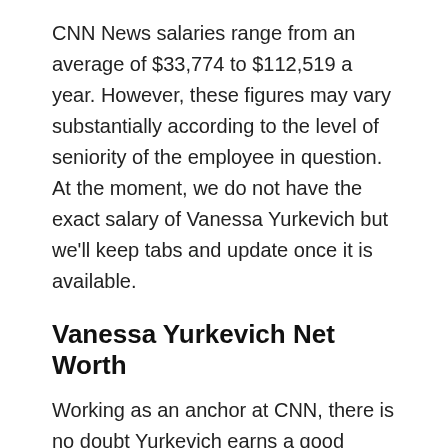CNN News salaries range from an average of $33,774 to $112,519 a year. However, these figures may vary substantially according to the level of seniority of the employee in question. At the moment, we do not have the exact salary of Vanessa Yurkevich but we'll keep tabs and update once it is available.
Vanessa Yurkevich Net Worth
Working as an anchor at CNN, there is no doubt Yurkevich earns a good salary and has been able to accumulate good net worth. However, her exact net worth has not yet been revealed but the information will be updated as soon as it is available.